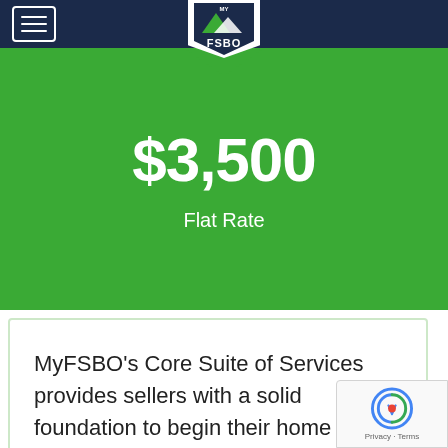[Figure (logo): MyFSBO (For Sale By Owner) logo — white shield/pennant shape with mountain graphic and FSBO text]
$3,500
Flat Rate
MyFSBO's Core Suite of Services provides sellers with a solid foundation to begin their home selling journey.